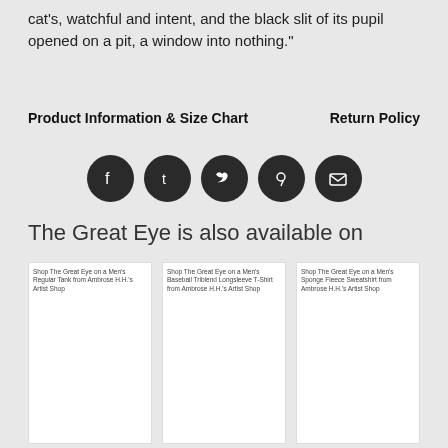cat's, watchful and intent, and the black slit of its pupil opened on a pit, a window into nothing."
Product Information & Size Chart    Return Policy
[Figure (infographic): Row of five social media icons (Facebook, Tumblr, Twitter, Pinterest, Email) as dark circles]
The Great Eye is also available on
[Figure (screenshot): Shop The Great Eye on a Men's Regular Tank from Ambrose H.H.'s Artist Shop - white product card]
[Figure (screenshot): Shop The Great Eye on a Men's Baseball Triblend Longsleeve T-Shirt from Ambrose H.H.'s Artist Shop - white product card]
[Figure (screenshot): Shop The Great Eye on a Men's Sponge Fleece Sweatshirt from Ambrose H.H.'s Artist Shop - white product card]